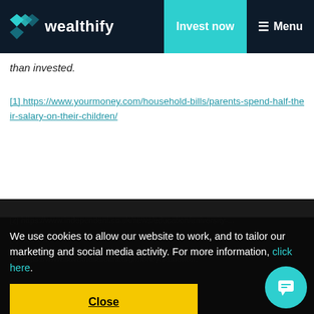wealthify | Invest now | Menu
than invested.
[1] https://www.yourmoney.com/household-bills/parents-spend-half-their-salary-on-their-children/
[2] https://www.independent.co.uk/news/education/university-...
We use cookies to allow our website to work, and to tailor our marketing and social media activity. For more information, click here.
[3] https://...
[4] https://www.savethestudent.org/money/student-...